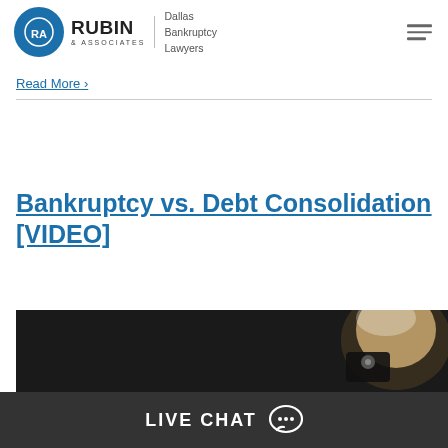Rubin & Associates - Dallas Bankruptcy Lawyers
Read More ›
Bankruptcy vs. Debt Consolidation [VIDEO]
[Figure (photo): Video thumbnail showing a person's hand and head in dark background]
LIVE CHAT